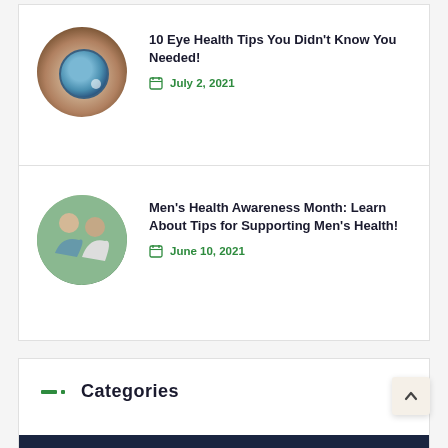10 Eye Health Tips You Didn't Know You Needed!
July 2, 2021
Men's Health Awareness Month: Learn About Tips for Supporting Men's Health!
June 10, 2021
Categories